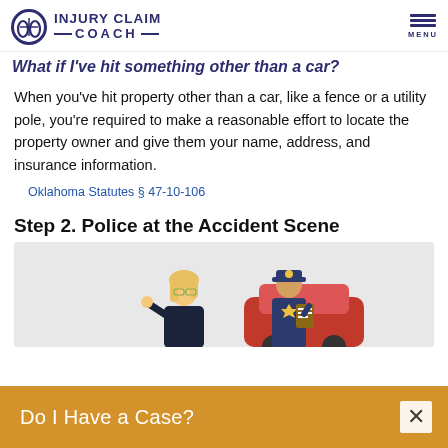INJURY CLAIM COACH
What if I've hit something other than a car?
When you've hit property other than a car, like a fence or a utility pole, you're required to make a reasonable effort to locate the property owner and give them your name, address, and insurance information.
Oklahoma Statutes § 47-10-106
Step 2. Police at the Accident Scene
[Figure (illustration): Cartoon illustration of a blonde woman in a dark suit gesturing, standing next to a police officer in uniform holding a clipboard, with a red car partially visible in the background, on a gray background.]
Do I Have a Case?